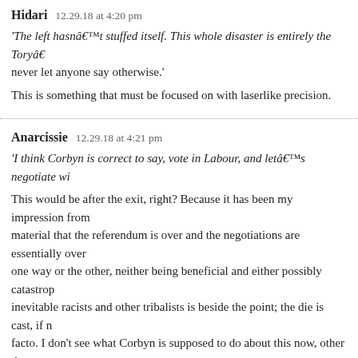Hidari   12.29.18 at 4:20 pm
‘The left hasnât stuffed itself. This whole disaster is entirely the Toryâ¦ never let anyone say otherwise.’
This is something that must be focused on with laserlike precision.
Anarcissie   12.29.18 at 4:21 pm
‘I think Corbyn is correct to say, vote in Labour, and letâs negotiate wi…
This would be after the exit, right? Because it has been my impression from material that the referendum is over and the negotiations are essentially over one way or the other, neither being beneficial and either possibly catastrop… inevitable racists and other tribalists is beside the point; the die is cast, if n… facto. I don’t see what Corbyn is supposed to do about this now, other than… bad situation.
Chris Bertram   12.29.18 at 4:31 pm